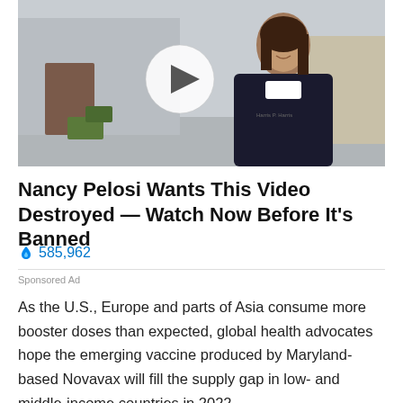[Figure (photo): A woman in a dark jacket smiling, standing outdoors near a building, with a video play button overlay in the center of the image.]
Nancy Pelosi Wants This Video Destroyed — Watch Now Before It's Banned
🔥 585,962
Sponsored Ad
As the U.S., Europe and parts of Asia consume more booster doses than expected, global health advocates hope the emerging vaccine produced by Maryland-based Novavax will fill the supply gap in low- and middle-income countries in 2022.